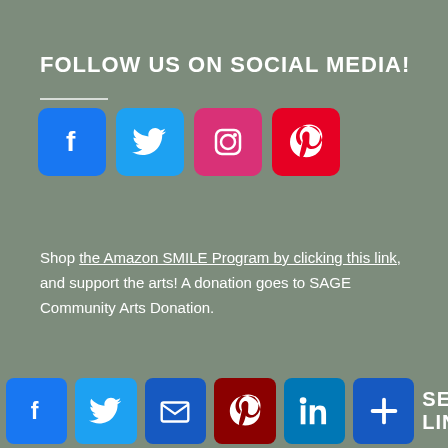FOLLOW US ON SOCIAL MEDIA!
[Figure (infographic): Four social media icons: Facebook (blue), Twitter (light blue), Instagram (pink/red), Pinterest (red)]
Shop the Amazon SMILE Program by clicking this link, and support the arts! A donation goes to SAGE Community Arts Donation.
[Figure (infographic): Bottom bar with six social media share icons: Facebook, Twitter, Email, Pinterest, LinkedIn, Plus button, followed by text 'SE LINKS!']